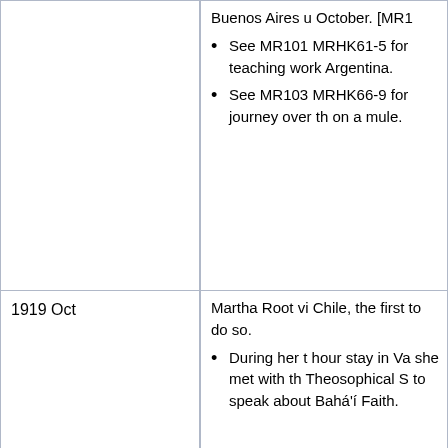| Date | Event |
| --- | --- |
|  | Buenos Aires u October. [MR1
• See MR101 MRHK61-5 for teaching work Argentina.
• See MR103 MRHK66-9 for journey over th on a mule. |
| 1919 Oct | Martha Root vi Chile, the first to do so.
• During her t hour stay in Va she met with th Theosophical S to speak about Bahá'í Faith. |